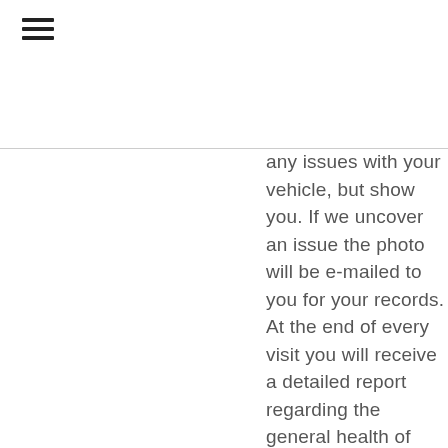[Figure (other): Hamburger menu icon (three horizontal lines)]
any issues with your vehicle, but show you. If we uncover an issue the photo will be e-mailed to you for your records. At the end of every visit you will receive a detailed report regarding the general health of your vehicle. Our #1 goal is to keep you safe on the road.